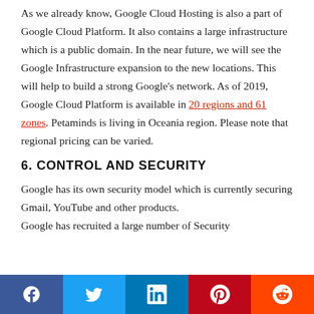As we already know, Google Cloud Hosting is also a part of Google Cloud Platform. It also contains a large infrastructure which is a public domain. In the near future, we will see the Google Infrastructure expansion to the new locations. This will help to build a strong Google's network. As of 2019, Google Cloud Platform is available in 20 regions and 61 zones. Petaminds is living in Oceania region. Please note that regional pricing can be varied.
6. CONTROL AND SECURITY
Google has its own security model which is currently securing Gmail, YouTube and other products. Google has recruited a large number of Security
Facebook Twitter LinkedIn Pinterest Reddit